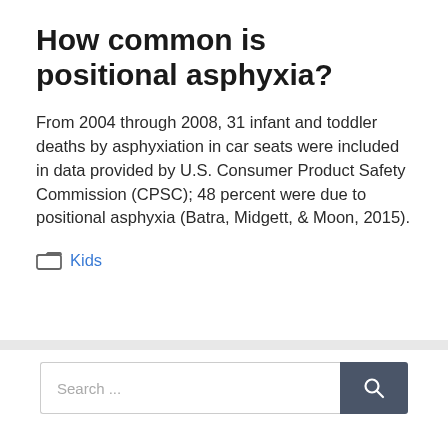How common is positional asphyxia?
From 2004 through 2008, 31 infant and toddler deaths by asphyxiation in car seats were included in data provided by U.S. Consumer Product Safety Commission (CPSC); 48 percent were due to positional asphyxia (Batra, Midgett, & Moon, 2015).
Kids
Search ...